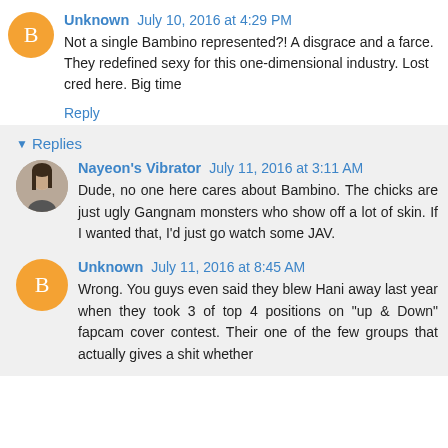Unknown July 10, 2016 at 4:29 PM
Not a single Bambino represented?! A disgrace and a farce. They redefined sexy for this one-dimensional industry. Lost cred here. Big time
Reply
Replies
Nayeon's Vibrator July 11, 2016 at 3:11 AM
Dude, no one here cares about Bambino. The chicks are just ugly Gangnam monsters who show off a lot of skin. If I wanted that, I'd just go watch some JAV.
Unknown July 11, 2016 at 8:45 AM
Wrong. You guys even said they blew Hani away last year when they took 3 of top 4 positions on "up & Down" fapcam cover contest. Their one of the few groups that actually gives a shit whether